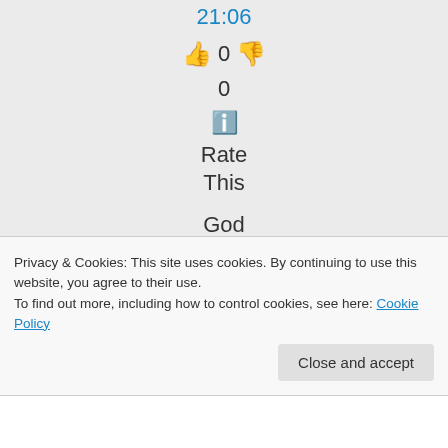21:06
👍 0 👎
0
ℹ️ Rate This
God bless you as well 🌸
☀️
Privacy & Cookies: This site uses cookies. By continuing to use this website, you agree to their use. To find out more, including how to control cookies, see here: Cookie Policy
Close and accept